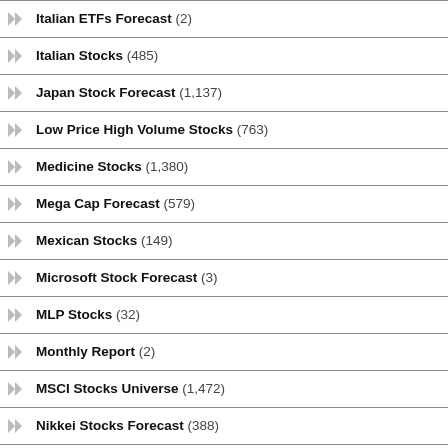Italian ETFs Forecast (2)
Italian Stocks (485)
Japan Stock Forecast (1,137)
Low Price High Volume Stocks (763)
Medicine Stocks (1,380)
Mega Cap Forecast (579)
Mexican Stocks (149)
Microsoft Stock Forecast (3)
MLP Stocks (32)
Monthly Report (2)
MSCI Stocks Universe (1,472)
Nikkei Stocks Forecast (388)